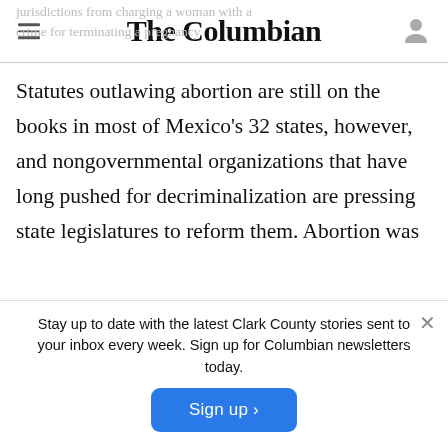The Columbian
jurisdictions from charging a woman with a crime for terminating a pregnancy.
Statutes outlawing abortion are still on the books in most of Mexico's 32 states, however, and nongovernmental organizations that have long pushed for decriminalization are pressing state legislatures to reform them. Abortion was
some states
To the south in Argentina, lawmakers late
Stay up to date with the latest Clark County stories sent to your inbox every week. Sign up for Columbian newsletters today.
Sign up >